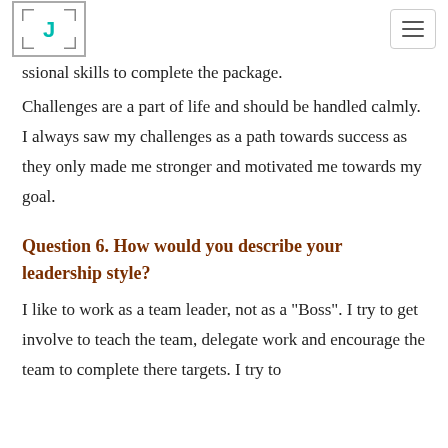J [logo]
ssional skills to complete the package.
Challenges are a part of life and should be handled calmly. I always saw my challenges as a path towards success as they only made me stronger and motivated me towards my goal.
Question 6. How would you describe your leadership style?
I like to work as a team leader, not as a "Boss". I try to get involve to teach the team, delegate work and encourage the team to complete there targets. I try to